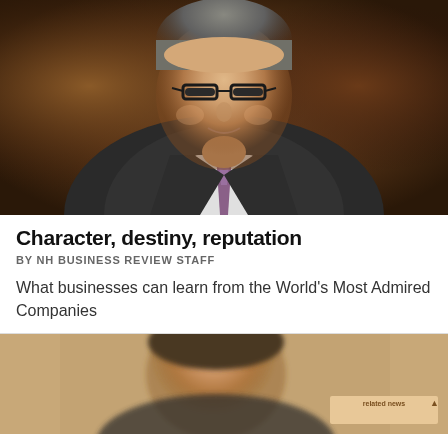[Figure (photo): Professional headshot of a middle-aged man in a dark suit, white shirt, and patterned tie, wearing glasses, against a dark wood-paneled background]
Character, destiny, reputation
BY NH BUSINESS REVIEW STAFF
What businesses can learn from the World's Most Admired Companies
[Figure (photo): Partial headshot of a younger man, cropped, with a 'related news' badge in the lower right corner]